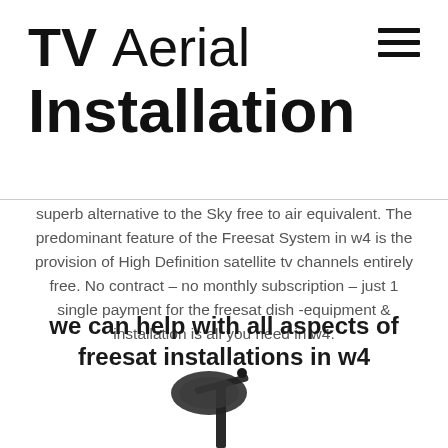TV Aerial Installation
superb alternative to the Sky free to air equivalent. The predominant feature of the Freesat System in w4 is the provision of High Definition satellite tv channels entirely free. No contract – no monthly subscription – just 1 single payment for the freesat dish -equipment & installation is all you need in w4.
we can help with all aspects of freesat installations in w4
[Figure (photo): Bottom portion of a satellite dish, dark colored, partially visible at the bottom of the page]